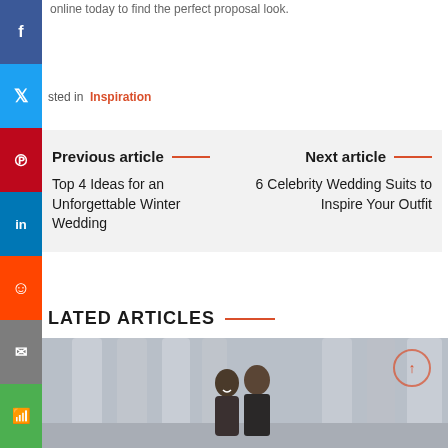online today to find the perfect proposal look.
sted in  Inspiration
Previous article — Top 4 Ideas for an Unforgettable Winter Wedding
Next article — 6 Celebrity Wedding Suits to Inspire Your Outfit
RELATED ARTICLES
[Figure (photo): Photo of a couple outdoors with architectural columns in background, used as thumbnail for a related article]